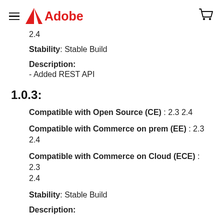Adobe
2.4
Stability: Stable Build
Description:
- Added REST API
1.0.3:
Compatible with Open Source (CE) : 2.3 2.4
Compatible with Commerce on prem (EE) : 2.3 2.4
Compatible with Commerce on Cloud (ECE) : 2.3 2.4
Stability: Stable Build
Description: